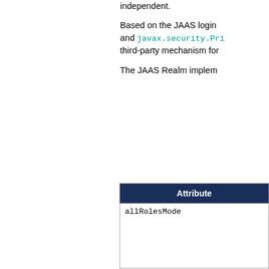independent.
Based on the JAAS login and javax.security.Pri third-party mechanism for
The JAAS Realm implem
| Attribute |
| --- |
| allRolesMode |
| appName |